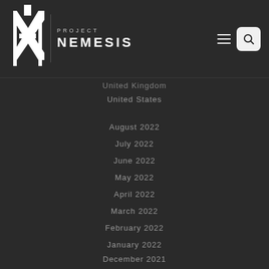PROJECT NEMESIS
United Kingdom
United States
August 2022
July 2022
June 2022
May 2022
April 2022
March 2022
February 2022
January 2022
December 2021
November 2021